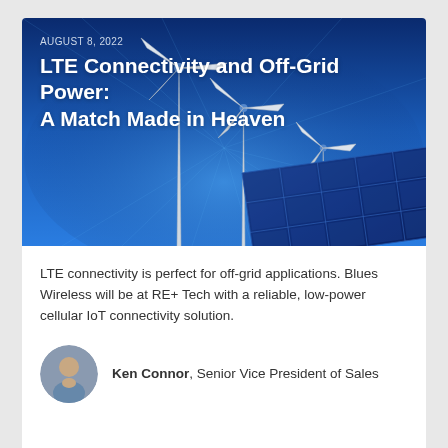[Figure (photo): Hero image showing wind turbines against a blue sky with solar panels in the lower right, overlaid with article date and title text]
LTE connectivity is perfect for off-grid applications. Blues Wireless will be at RE+ Tech with a reliable, low-power cellular IoT connectivity solution.
Ken Connor, Senior Vice President of Sales